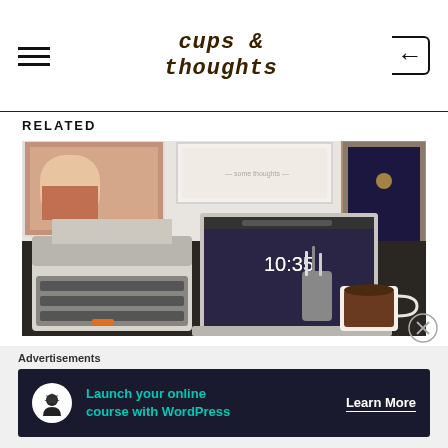cups & thoughts
RELATED
[Figure (photo): Desktop scene with a vintage typewriter on the left, an open MacBook in the center showing 10:35 on screen, and a cup of coffee with stationery items and framed pictures in the background on a dark desk.]
Books To Fall For This Valentine's Day! (2020)
14 February 2020
In "books"
Advertisements
Launch your online course with WordPress  Learn More